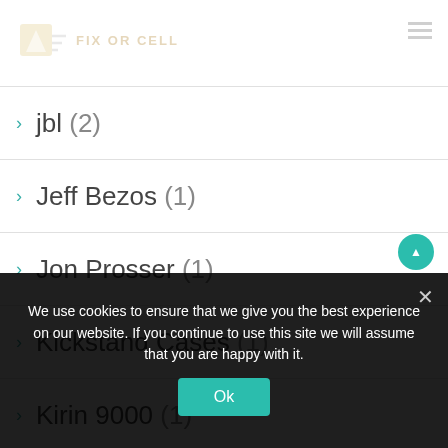Fix or Cell logo header
Jabra (2)
jbl (2)
Jeff Bezos (1)
Jon Prosser (1)
Kickstand Cases (1)
Kirin 9000 (1)
Kodak (1)
Labor Day (1)
We use cookies to ensure that we give you the best experience on our website. If you continue to use this site we will assume that you are happy with it.